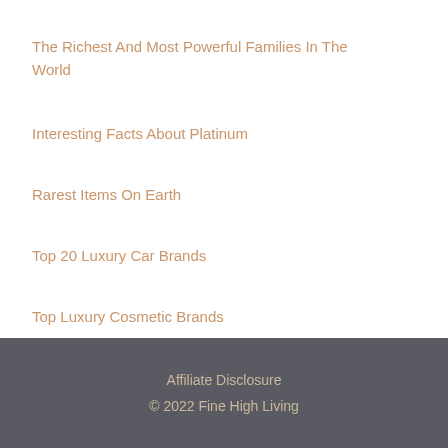The Richest And Most Powerful Families In The World
Interesting Facts About Platinum
Rarest Items On Earth
Top 20 Luxury Car Brands
Top Luxury Cosmetic Brands
Affiliate Disclosure
© 2022 Fine High Living